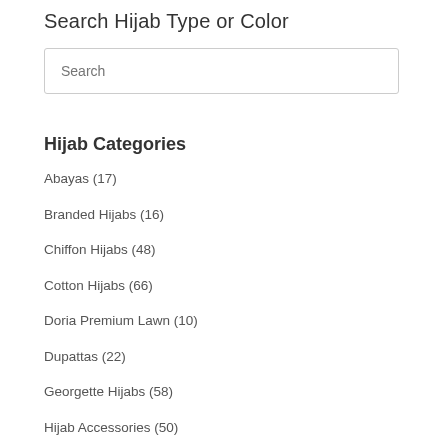Search Hijab Type or Color
Search (input box)
Hijab Categories
Abayas (17)
Branded Hijabs (16)
Chiffon Hijabs (48)
Cotton Hijabs (66)
Doria Premium Lawn (10)
Dupattas (22)
Georgette Hijabs (58)
Hijab Accessories (50)
Hijab Caps (19)
Hijab Pins (12)